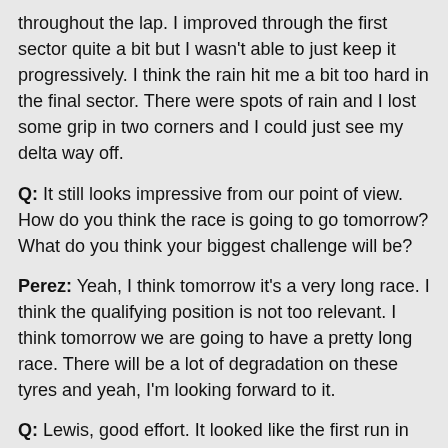throughout the lap. I improved through the first sector quite a bit but I wasn't able to just keep it progressively. I think the rain hit me a bit too hard in the final sector. There were spots of rain and I lost some grip in two corners and I could just see my delta way off.
Q: It still looks impressive from our point of view. How do you think the race is going to go tomorrow? What do you think your biggest challenge will be?
Perez: Yeah, I think tomorrow it's a very long race. I think the qualifying position is not too relevant. I think tomorrow we are going to have a pretty long race. There will be a lot of degradation on these tyres and yeah, I'm looking forward to it.
Q: Lewis, good effort. It looked like the first run in Q3 was a little bit of struggle at the end but the next run was a little bit quicker but you just missed it. Where could you have found a little bit more speed?
Lewis HAMILTON: Well, firstly I want to acknowledge the crowd we've got here. We've got a great crowd this weekend. Every time we come to Austin we always have this amazing crowd and fortunately really good weather. We are grateful for it. I gave it everything